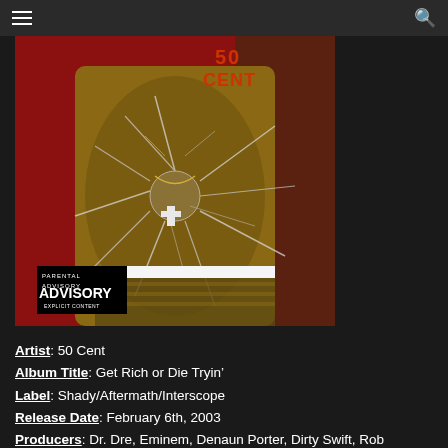navigation header with menu and search icons
[Figure (photo): Album cover for 50 Cent's 'Get Rich or Die Tryin' showing a muscular man with shattered glass effect, Gucci clothing, a cross necklace, on a red background with the artist name '50 CENT' at top. Parental Advisory Explicit Content label in lower left.]
Artist: 50 Cent
Album Title: Get Rich or Die Tryin’
Label: Shady/Aftermath/Interscope
Release Date: February 6th, 2003
Producers: Dr. Dre, Eminem, Denaun Porter, Dirty Swift, Rob